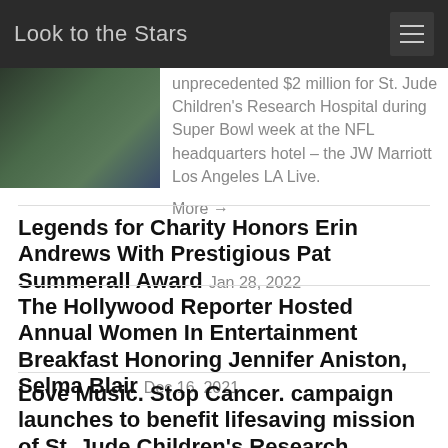Look to the Stars
unprecedented $2 million for St. Jude Children's Research Hospital during Super Bowl week at the NFL headquarters hotel – the JW Marriott Los Angeles LA Live.
More →
Legends for Charity Honors Erin Andrews With Prestigious Pat Summerall Award Jan 28, 2022
The Hollywood Reporter Hosted Annual Women In Entertainment Breakfast Honoring Jennifer Aniston, Selma Blair Dec 16, 2021
Love Music. Stop Cancer. campaign launches to benefit lifesaving mission of St. Jude Children's Research Hospital Dec 2, 2021